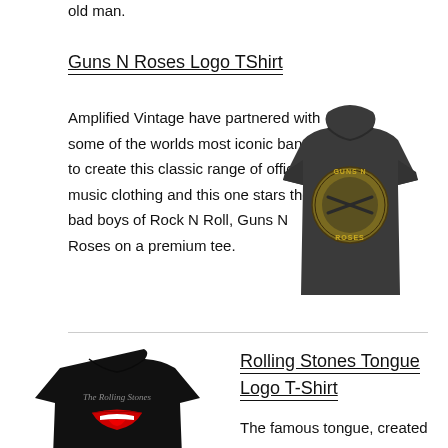old man.
Guns N Roses Logo TShirt
Amplified Vintage have partnered with some of the worlds most iconic bands to create this classic range of official music clothing and this one stars the bad boys of Rock N Roll, Guns N Roses on a premium tee.
[Figure (photo): Dark grey Guns N Roses logo t-shirt with circular bullet logo on chest]
Rolling Stones Tongue Logo T-Shirt
[Figure (photo): Black Rolling Stones t-shirt with tongue logo and script text]
The famous tongue, created by designer